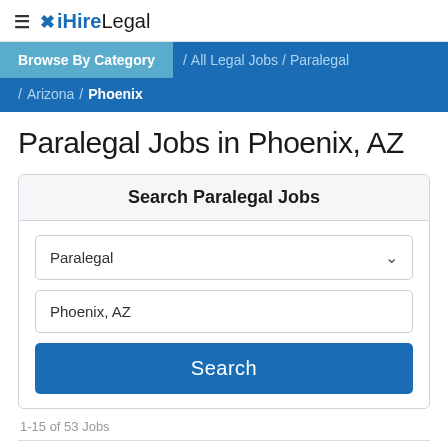≡ iHireLegal
Browse By Category / All Legal Jobs / Paralegal / Arizona / Phoenix
Paralegal Jobs in Phoenix, AZ
Search Paralegal Jobs
Paralegal
Phoenix, AZ
Search
1-15 of 53 Jobs